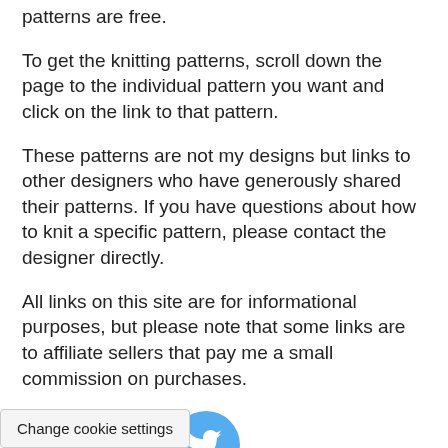patterns are free.
To get the knitting patterns, scroll down the page to the individual pattern you want and click on the link to that pattern.
These patterns are not my designs but links to other designers who have generously shared their patterns. If you have questions about how to knit a specific pattern, please contact the designer directly.
All links on this site are for informational purposes, but please note that some links are to affiliate sellers that pay me a small commission on purchases.
[Figure (other): Social media share buttons: Pinterest (red circle with P), Facebook (blue circle with f), Twitter (light blue circle with bird icon)]
Change cookie settings